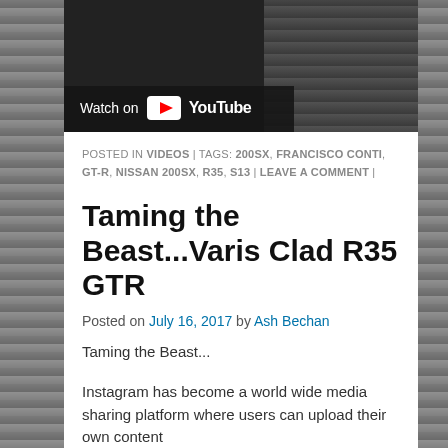[Figure (screenshot): YouTube video thumbnail showing a dark background with a car, with a 'Watch on YouTube' overlay button in the lower left]
POSTED IN VIDEOS | TAGS: 200SX, FRANCISCO CONTI, GT-R, NISSAN 200SX, R35, S13 | LEAVE A COMMENT |
Taming the Beast...Varis Clad R35 GTR
Posted on July 16, 2017 by Ash Bechan
Taming the Beast...
Instagram has become a world wide media sharing platform where users can upload their own content